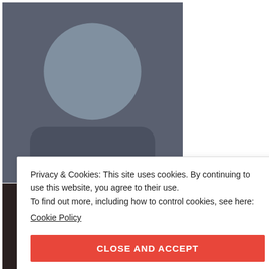[Figure (photo): Grid of profile/avatar thumbnail photos in two rows]
STAY UPDATED VIA FACEBOOK
Privacy & Cookies: This site uses cookies. By continuing to use this website, you agree to their use.
To find out more, including how to control cookies, see here:
Cookie Policy
CLOSE AND ACCEPT